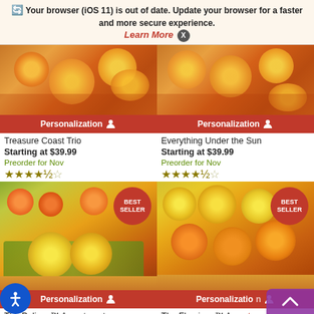Your browser (iOS 11) is out of date. Update your browser for a faster and more secure experience. Learn More ✕
[Figure (screenshot): Product card: Treasure Coast Trio - citrus fruits image with Personalization bar]
Treasure Coast Trio
Starting at $39.99
Preorder for Nov
[Figure (screenshot): Star rating: 4.5 stars]
[Figure (screenshot): Product card: Everything Under the Sun - citrus fruits image with Personalization bar]
Everything Under the Sun
Starting at $39.99
Preorder for Nov
[Figure (screenshot): Star rating: 4.5 stars]
[Figure (screenshot): Product card: The Pelican™ Assortment - Best Seller badge, fruit basket image, Personalization bar]
The Pelican™ Assortment
Starting at $39.99
[Figure (screenshot): Product card: The Flamingo™ Assortment - Best Seller badge, fruit basket image, Personalization bar]
The Flamingo™ Assortment
Starting at $47.99